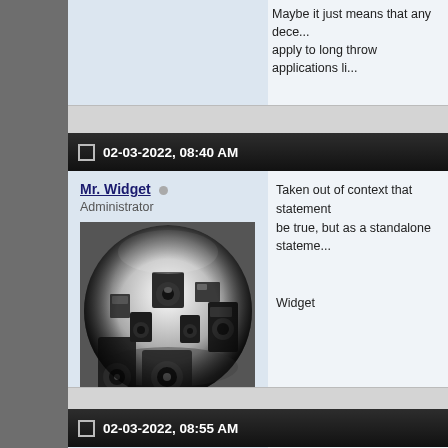Maybe it just means that any decei... apply to long throw applications li...
02-03-2022, 08:40 AM
Mr. Widget
Administrator
Join Date: Apr 2003
Location: San Francisco
Posts: 9,255
Taken out of context that statement... be true, but as a standalone stateme...

Widget
02-03-2022, 08:55 AM
engineerjoe
Thank you.